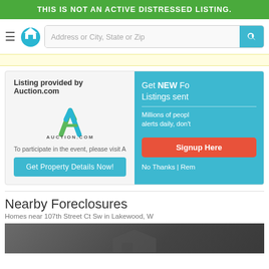THIS IS NOT AN ACTIVE DISTRESSED LISTING.
[Figure (screenshot): Navigation bar with hamburger menu, house pin logo, and search bar with 'Address or City, State or Zip' placeholder and teal search button]
[Figure (screenshot): Yellow advertisement banner]
Listing provided by Auction.com
[Figure (logo): Auction.com logo with green and blue triangular 'A' mark and 'AUCTION.COM' text]
To participate in the event, please visit Auction.com for m
[Figure (screenshot): Blue 'Get Property Details Now!' button]
[Figure (screenshot): Teal popup overlay: 'Get NEW Fo... Listings sent' with description 'Millions of peop... alerts daily, don't', red 'Signup Here' button, and 'No Thanks | Rem' link]
Nearby Foreclosures
Homes near 107th Street Ct Sw in Lakewood, W
[Figure (photo): Dark gray photo strip showing partial house silhouette]